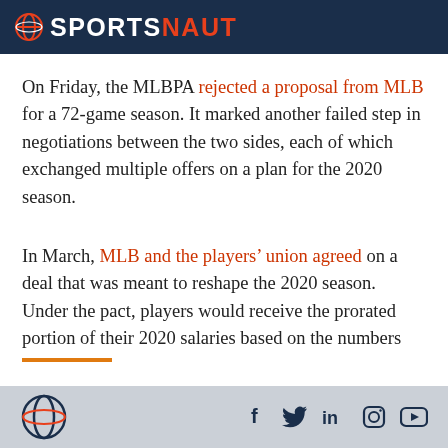SPORTSNAUT
On Friday, the MLBPA rejected a proposal from MLB for a 72-game season. It marked another failed step in negotiations between the two sides, each of which exchanged multiple offers on a plan for the 2020 season.
In March, MLB and the players’ union agreed on a deal that was meant to reshape the 2020 season. Under the pact, players would receive the prorated portion of their 2020 salaries based on the numbers
Sportsnaut logo and social media icons: f, Twitter, in, Instagram, YouTube